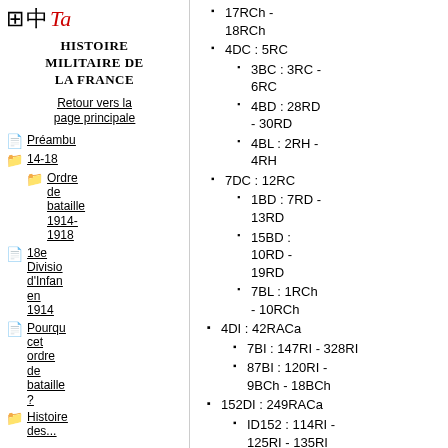[Figure (logo): Logo icons: grid, Chinese character, red italic 'Ta' text]
Histoire militaire de la France
Retour vers la page principale
Préambu
14-18
Ordre de bataille 1914-1918
18e Division d'Infan en 1914
Pourqu cet ordre de bataille ?
Histoire des...
17RCh - 18RCh
4DC : 5RC
3BC : 3RC - 6RC
4BD : 28RD - 30RD
4BL : 2RH - 4RH
7DC : 12RC
1BD : 7RD - 13RD
15BD : 10RD - 19RD
7BL : 1RCh - 10RCh
4DI : 42RACa
7BI : 147RI - 328RI
87BI : 120RI - 9BCh - 18BCh
152DI : 249RACa
ID152 : 114RI - 125RI - 135RI
167DI : 222RACa
ID167 : 170RI - 174RI - 409RI
89DT :